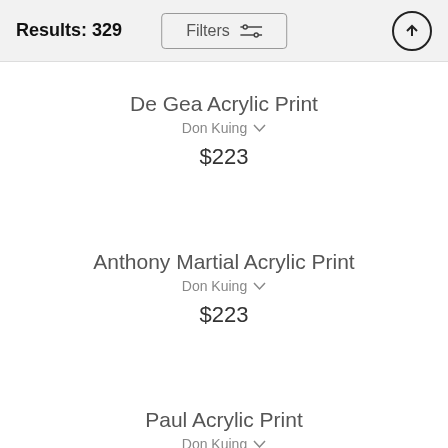Results: 329
De Gea Acrylic Print
Don Kuing
$223
Anthony Martial Acrylic Print
Don Kuing
$223
Paul Acrylic Print
Don Kuing
$223